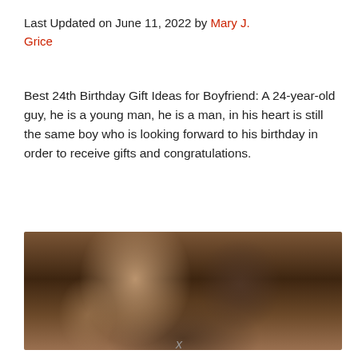Last Updated on June 11, 2022 by Mary J. Grice
Best 24th Birthday Gift Ideas for Boyfriend: A 24-year-old guy, he is a young man, he is a man, in his heart is still the same boy who is looking forward to his birthday in order to receive gifts and congratulations.
[Figure (photo): A woman with long curly dark hair smiling and covering or touching the face of a man, appearing to be a romantic couple]
x